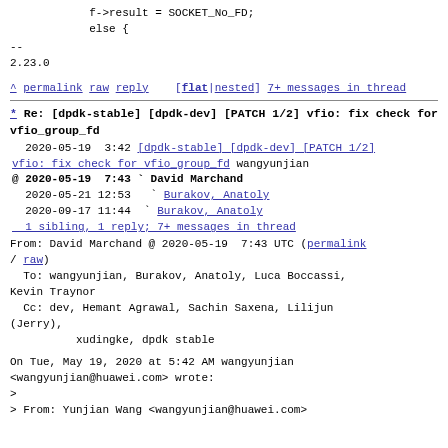f->result = SOCKET_No_FD;
            else {
--
2.23.0
^ permalink raw reply   [flat|nested] 7+ messages in thread
* Re: [dpdk-stable] [dpdk-dev] [PATCH 1/2] vfio: fix check for vfio_group_fd
  2020-05-19  3:42 [dpdk-stable] [dpdk-dev] [PATCH 1/2] vfio: fix check for vfio_group_fd wangyunjian
@ 2020-05-19  7:43 ` David Marchand
  2020-05-21 12:53   ` Burakov, Anatoly
  2020-09-17 11:44   ` Burakov, Anatoly
  1 sibling, 1 reply; 7+ messages in thread
From: David Marchand @ 2020-05-19  7:43 UTC (permalink / raw)
  To: wangyunjian, Burakov, Anatoly, Luca Boccassi, Kevin Traynor
  Cc: dev, Hemant Agrawal, Sachin Saxena, Lilijun (Jerry),
          xudingke, dpdk stable

On Tue, May 19, 2020 at 5:42 AM wangyunjian
<wangyunjian@huawei.com> wrote:
>
> From: Yunjian Wang <wangyunjian@huawei.com>